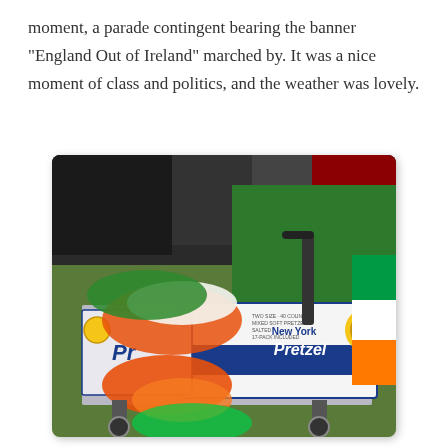moment, a parade contingent bearing the banner "England Out of Ireland" marched by. It was a nice moment of class and politics, and the weather was lovely.
[Figure (photo): Photo of a shopping cart decorated with green, orange, and white feathers (Irish flag colors) and a box of New York Pretzel brand pretzels, at what appears to be a St. Patrick's Day parade. An Irish tricolor flag is visible on the right side.]